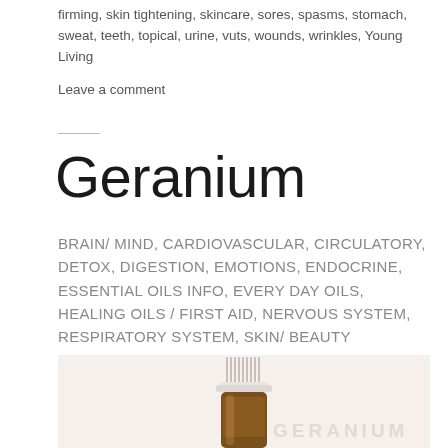firming, skin tightening, skincare, sores, spasms, stomach, sweat, teeth, topical, urine, vuts, wounds, wrinkles, Young Living
Leave a comment
Geranium
BRAIN/ MIND, CARDIOVASCULAR, CIRCULATORY, DETOX, DIGESTION, EMOTIONS, ENDOCRINE, ESSENTIAL OILS INFO, EVERY DAY OILS, HEALING OILS / FIRST AID, NERVOUS SYSTEM, RESPIRATORY SYSTEM, SKIN/ BEAUTY
[Figure (photo): Photo of a small amber essential oil bottle with a white dropper cap, placed against a light beige/cream background with the word GERANIUM as a faint watermark]